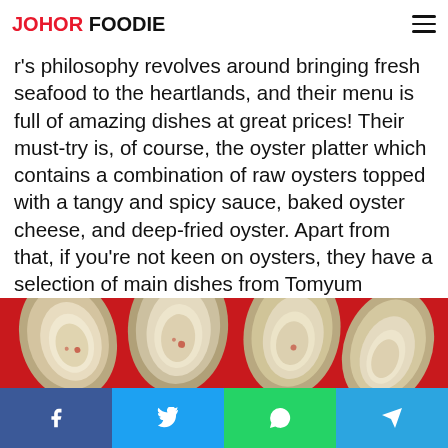JOHOR FOODIE
r's philosophy revolves around bringing fresh seafood to the heartlands, and their menu is full of amazing dishes at great prices! Their must-try is, of course, the oyster platter which contains a combination of raw oysters topped with a tangy and spicy sauce, baked oyster cheese, and deep-fried oyster. Apart from that, if you're not keen on oysters, they have a selection of main dishes from Tomyum Seafood to Grilled fish.
[Figure (photo): Oyster platter on a red background showing four raw oysters in shells arranged on a metal tray]
f  t  WhatsApp  Telegram social share buttons